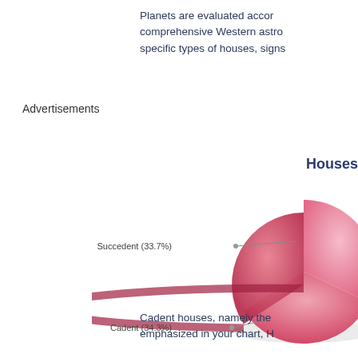Planets are evaluated accor comprehensive Western astro specific types of houses, signs
Advertisements
Houses
[Figure (pie-chart): Houses]
Cadent houses, namely the emphasized in your chart, H